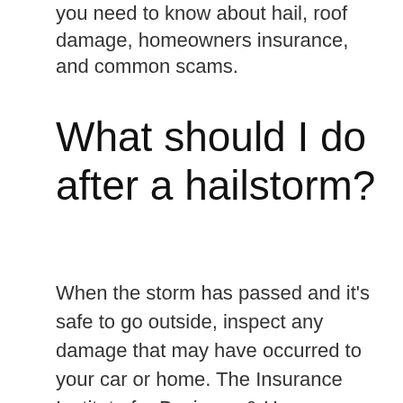you need to know about hail, roof damage, homeowners insurance, and common scams.
What should I do after a hailstorm?
When the storm has passed and it's safe to go outside, inspect any damage that may have occurred to your car or home. The Insurance Institute for Business & Home Safety (IBHS) recommends contacting your insurance agent immediately if you suspect hail damage. Your ERIE agent knows the ins and outs of your specific policy and can help you determine whether you should file